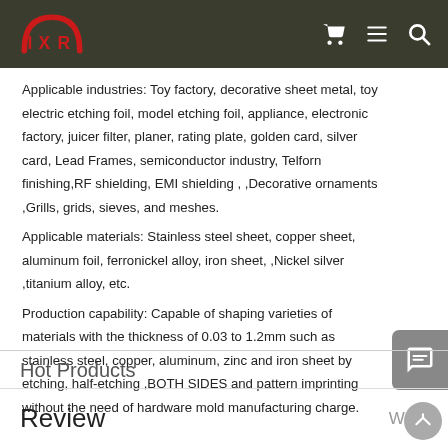IXR [logo with cart, list, search icons]
Applicable industries: Toy factory, decorative sheet metal, toy electric etching foil, model etching foil, appliance, electronic factory, juicer filter, planer, rating plate, golden card, silver card, Lead Frames, semiconductor industry, Telforn finishing,RF shielding, EMI shielding , ,Decorative ornaments ,Grills, grids, sieves, and meshes.
Applicable materials: Stainless steel sheet, copper sheet, aluminum foil, ferronickel alloy, iron sheet, ,Nickel silver ,titanium alloy, etc.
Production capability: Capable of shaping varieties of materials with the thickness of 0.03 to 1.2mm such as stainless steel, copper, aluminum, zinc and iron sheet by etching, half-etching ,BOTH SIDES and pattern imprinting without the need of hardware mold manufacturing charge.
Hot Products
Review
Write